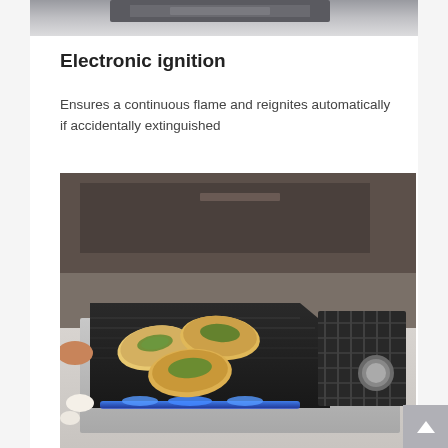[Figure (photo): Top partial view of a kitchen appliance or cooktop, showing a dark surface with stainless steel elements and a gray/marble background.]
Electronic ignition
Ensures a continuous flame and reignites automatically if accidentally extinguished
[Figure (photo): Close-up photo of a gas cooktop with a flat griddle attachment. Several filled crepes or flatbreads topped with greens are cooking on the dark griddle. A blue flame is visible underneath. Egg shells and a hand are visible to the left. Gas burner grates are visible on the right side of the cooktop. The cooktop surface is stainless steel on a marble/light stone counter.]